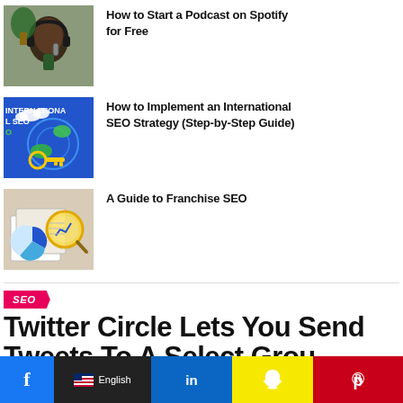[Figure (photo): Person with headphones at microphone (podcast setup)]
How to Start a Podcast on Spotify for Free
[Figure (photo): Blue background with globe and key, text INTERNATIONAL SEO]
How to Implement an International SEO Strategy (Step-by-Step Guide)
[Figure (photo): Charts and magnifying glass on papers showing analytics]
A Guide to Franchise SEO
SEO
Twitter Circle Lets You Send Tweets To A Select Group
f   English   in   [snapchat]   [pinterest]   [share]